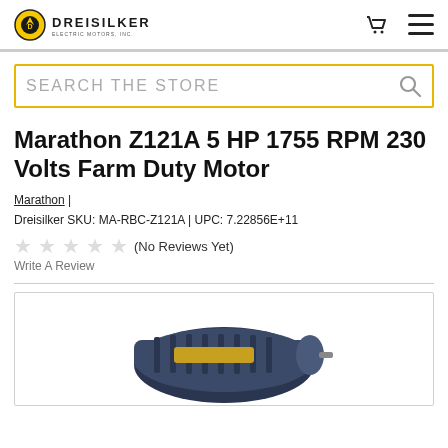DREISILKER ELECTRIC MOTORS, INC.
SEARCH THE STORE
Marathon Z121A 5 HP 1755 RPM 230 Volts Farm Duty Motor
Marathon | Dreisilker SKU: MA-RBC-Z121A | UPC: 7.22856E+11
(No Reviews Yet) Write A Review
[Figure (photo): Product photo of Marathon Z121A Farm Duty Motor, showing the top portion of the motor with black/dark blue casing]